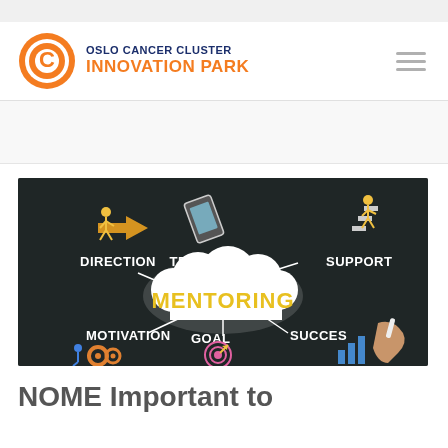[Figure (logo): Oslo Cancer Cluster Innovation Park logo with orange circular C icon and text]
[Figure (photo): Blackboard illustration with 'MENTORING' in yellow cloud shape and surrounding words: DIRECTION, TRAINING, SUPPORT, MOTIVATION, GOAL, SUCCESS with icons and a hand holding chalk]
NOME Important to